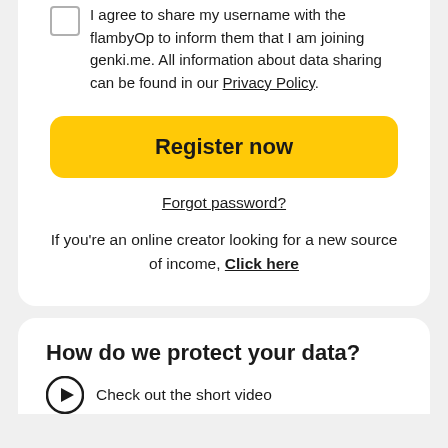I agree to share my username with the flambyOp to inform them that I am joining genki.me. All information about data sharing can be found in our Privacy Policy.
Register now
Forgot password?
If you're an online creator looking for a new source of income, Click here
How do we protect your data?
Check out the short video